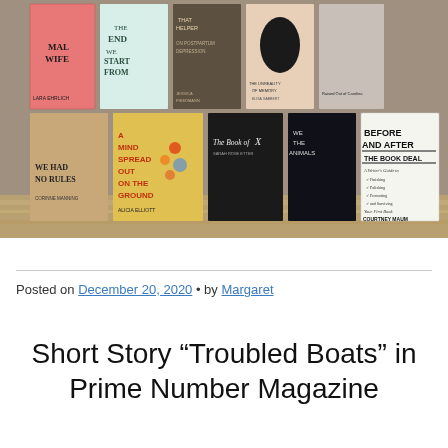[Figure (photo): A collage of book covers arranged in two rows on a textured background. Top row includes titles such as 'Mal Wife' by Lara Ehrlich, 'The End We Start From', 'That Helper: On Postpartum Depression' by Jessica Friedmann, 'The Unreality of Memory', and 'Raised Out of Carolina'. Bottom row includes 'We Had No Rules' by Corinne Manning, 'A Mind Spread Out on the Ground' by Alicia Elliott, 'The Book of X' by Sarah Rose Etter, 'We the Animals', and 'Before and After the Book Deal: A Writer's Guide to Finishing, Polishing, Promoting and Surviving Your First Book' by Courtney Maum.]
Posted on December 20, 2020 • by Margaret
Short Story “Troubled Boats” in Prime Number Magazine